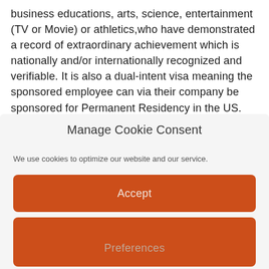business educations, arts, science, entertainment (TV or Movie) or athletics, who have demonstrated a record of extraordinary achievement which is nationally and/or internationally recognized and verifiable. It is also a dual-intent visa meaning the sponsored employee can via their company be sponsored for Permanent Residency in the US.
Manage Cookie Consent
We use cookies to optimize our website and our service.
Accept
Deny
Preferences